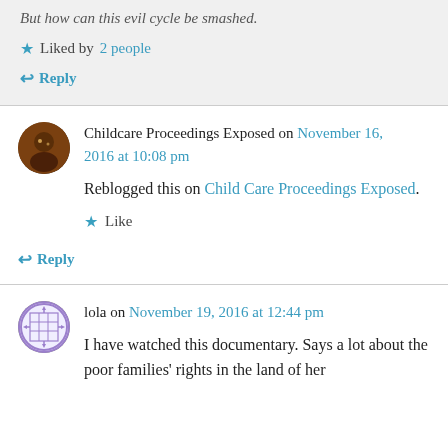But how can this evil cycle be smashed.
Liked by 2 people
Reply
Childcare Proceedings Exposed on November 16, 2016 at 10:08 pm
Reblogged this on Child Care Proceedings Exposed.
Like
Reply
lola on November 19, 2016 at 12:44 pm
I have watched this documentary. Says a lot about the poor families' rights in the land of her